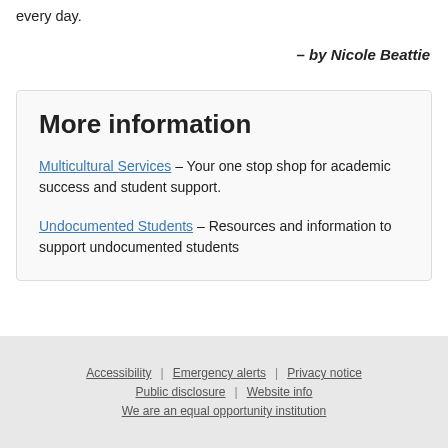every day.
– by Nicole Beattie
More information
Multicultural Services – Your one stop shop for academic success and student support.
Undocumented Students – Resources and information to support undocumented students
Last Updated June 18, 2020
Accessibility | Emergency alerts | Privacy notice | Public disclosure | Website info | We are an equal opportunity institution